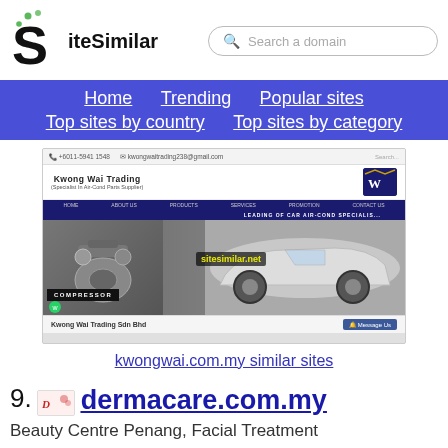SiteSimilar — Search a domain
Home  Trending  Popular sites  Top sites by country  Top sites by category
[Figure (screenshot): Screenshot of kwongwai.com.my — Kwong Wai Trading Sdn Bhd, specialist in air-cond parts supplier, showing car air-cond compressor imagery]
kwongwai.com.my similar sites
9.  dermacare.com.my
Beauty Centre Penang, Facial Treatment